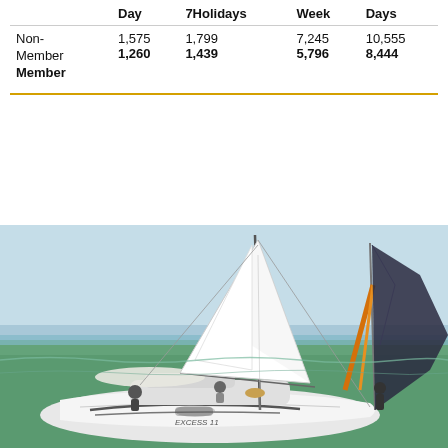|  | Day | 7Holidays | Week | Days |
| --- | --- | --- | --- | --- |
| Non-Member | 1,575 | 1,799 | 7,245 | 10,555 |
| Member | 1,260 | 1,439 | 5,796 | 8,444 |
[Figure (photo): A sailing catamaran with white hull and sails underway on blue-green water, with people on deck. A second vessel with colorful orange/yellow spinnaker sail visible to the right.]